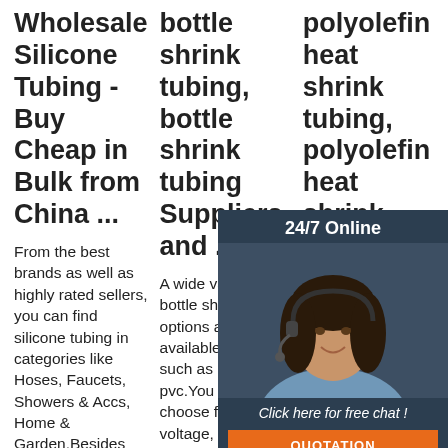Wholesale Silicone Tubing - Buy Cheap in Bulk from China ...
From the best brands as well as highly rated sellers, you can find silicone tubing in categories like Hoses, Faucets, Showers & Accs, Home & Garden.Besides cheap and quality
bottle shrink tubing, bottle shrink tubing Suppliers and ...
A wide variety of bottle shrink tubing options are available to you, such as pe, pvc.You can also choose from low voltage, high temperature bottle shrink tubing,As
polyolefin heat shrink tubing, polyolefin heat shrink
A wide variety of polyolefin heat shrink tubing options are available to you, such as pe, composite polymer.You can also choose from low voltage, high voltage polyolefin heat shrink
[Figure (photo): Customer service representative with headset, overlaid on dark blue chat widget with '24/7 Online' header, 'Click here for free chat!' text, and orange QUOTATION button]
[Figure (logo): TOP logo with orange dots forming a triangle above orange T and red O with star, black P letters]